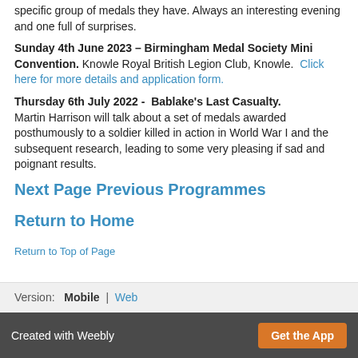specific group of medals they have. Always an interesting evening and one full of surprises.
Sunday 4th June 2023 – Birmingham Medal Society Mini Convention. Knowle Royal British Legion Club, Knowle. Click here for more details and application form.
Thursday 6th July 2022 - Bablake's Last Casualty. Martin Harrison will talk about a set of medals awarded posthumously to a soldier killed in action in World War I and the subsequent research, leading to some very pleasing if sad and poignant results.
Next Page Previous Programmes
Return to Home
Return to Top of Page
Version: Mobile | Web
Created with Weebly  Get the App